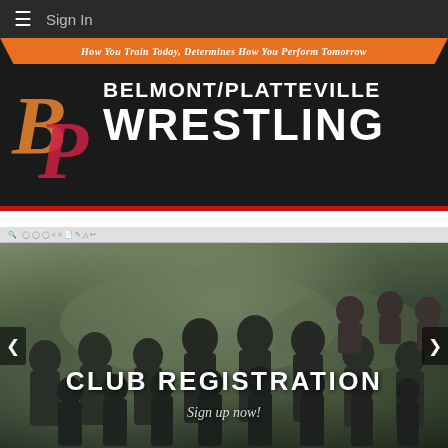Sign In
[Figure (logo): Belmont/Platteville Wrestling club banner logo with BP initials in orange/red script, black background, orange top bar with tagline 'How You Train Today, Determines How You Perform Tomorrow']
[Figure (photo): Group photo of wrestling club members, coaches, and athletes all wearing black shirts, posed in a barn/warehouse setting. Overlaid text reads 'CLUB REGISTRATION' and 'Sign up now!']